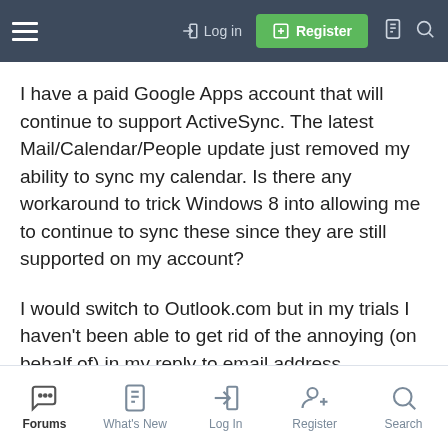Login | Register
I have a paid Google Apps account that will continue to support ActiveSync. The latest Mail/Calendar/People update just removed my ability to sync my calendar. Is there any workaround to trick Windows 8 into allowing me to continue to sync these since they are still supported on my account?
I would switch to Outlook.com but in my trials I haven't been able to get rid of the annoying (on behalf of) in my reply to email address...
Forums | What's New | Log In | Register | Search